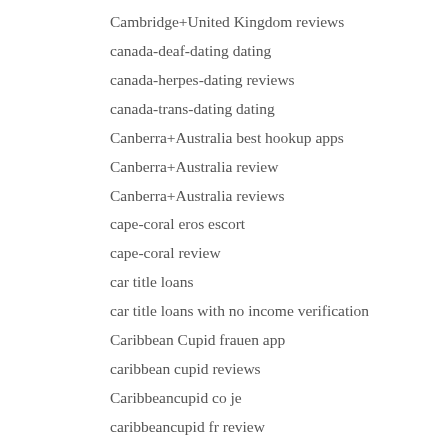Cambridge+United Kingdom reviews
canada-deaf-dating dating
canada-herpes-dating reviews
canada-trans-dating dating
Canberra+Australia best hookup apps
Canberra+Australia review
Canberra+Australia reviews
cape-coral eros escort
cape-coral review
car title loans
car title loans with no income verification
Caribbean Cupid frauen app
caribbean cupid reviews
Caribbeancupid co je
caribbeancupid fr review